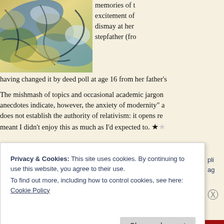[Figure (photo): Colorful abstract painting with swirling blue, green, and yellow patterns, partially visible at top-left corner of the page.]
memories of t excitement of dismay at her stepfather (fro having changed it by deed poll at age 16 from her father's
The mishmash of topics and occasional academic jargon anecdotes indicate, however, the anxiety of modernity" a does not establish the authority of relativism: it opens re meant I didn't enjoy this as much as I'd expected to. ★
Privacy & Cookies: This site uses cookies. By continuing to use this website, you agree to their use.
To find out more, including how to control cookies, see here: Cookie Policy
Close and accept